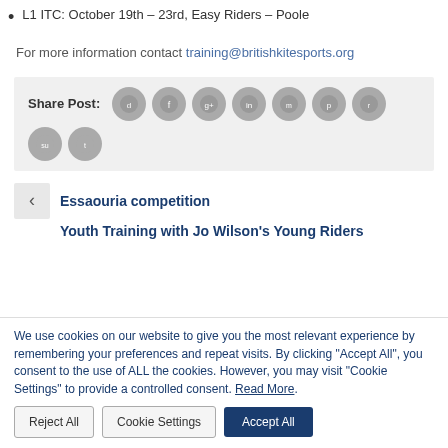L1 ITC: October 19th – 23rd, Easy Riders – Poole
For more information contact training@britishkitesports.org
[Figure (infographic): Share Post section with social media icons: digg, facebook, google+, linkedin, meetup, pinterest, reddit, stumbleupon, twitter]
Essaouria competition
Youth Training with Jo Wilson's Young Riders
We use cookies on our website to give you the most relevant experience by remembering your preferences and repeat visits. By clicking "Accept All", you consent to the use of ALL the cookies. However, you may visit "Cookie Settings" to provide a controlled consent. Read More.